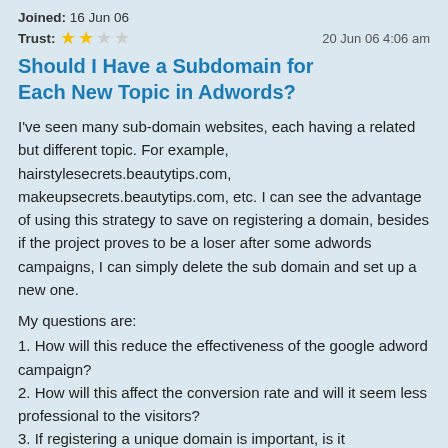Joined: 16 Jun 06
Trust: ★★☆☆☆   20 Jun 06 4:06 am
Should I Have a Subdomain for Each New Topic in Adwords?
I've seen many sub-domain websites, each having a related but different topic. For example, hairstylesecrets.beautytips.com, makeupsecrets.beautytips.com, etc. I can see the advantage of using this strategy to save on registering a domain, besides if the project proves to be a loser after some adwords campaigns, I can simply delete the sub domain and set up a new one.
My questions are:
1. How will this reduce the effectiveness of the google adword campaign?
2. How will this affect the conversion rate and will it seem less professional to the visitors?
3. If registering a unique domain is important, is it